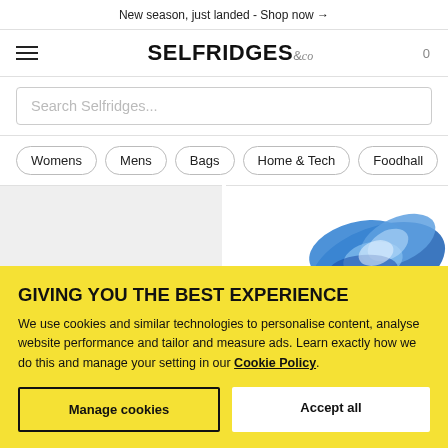New season, just landed - Shop now →
[Figure (logo): Selfridges & Co logo with hamburger menu and cart icon]
Search Selfridges...
Womens
Mens
Bags
Home & Tech
Foodhall
[Figure (photo): Two product image panels: left is a light grey blank panel, right shows a blue decorative fabric/accessory item]
GIVING YOU THE BEST EXPERIENCE
We use cookies and similar technologies to personalise content, analyse website performance and tailor and measure ads. Learn exactly how we do this and manage your setting in our Cookie Policy.
Manage cookies
Accept all